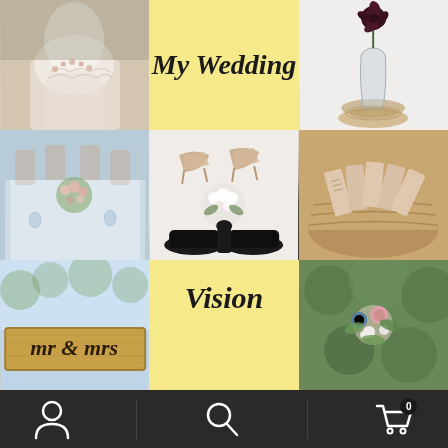[Figure (photo): Wedding dress close-up showing white lace bodice with floral embellishments]
My Wedding
[Figure (photo): Single dark flower (dahlia) in clear glass vase on wooden slice]
[Figure (photo): Wedding reception table setting with floral centerpieces]
[Figure (photo): Flat lay of nude heels, black dress shoes, and white bouquet]
[Figure (photo): Wicker basket filled with wedding favor tags or place cards]
[Figure (photo): Mr & Mrs wooden sign at wedding venue]
Vision Board
[Figure (photo): Wedding boutonniere with colorful wildflowers]
[Figure (infographic): Bottom navigation bar with person icon, search icon, and shopping cart icon with 0 badge]